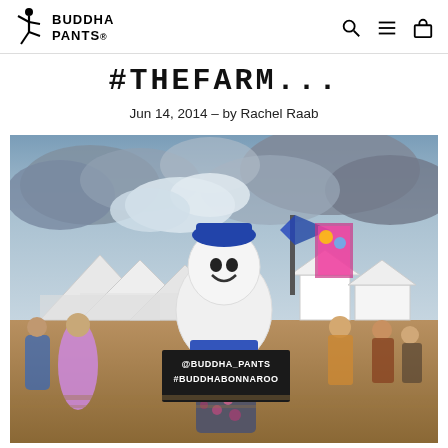BUDDHA PANTS
#TheFarm...
Jun 14, 2014 - by Rachel Raab
[Figure (photo): Festival photo at Bonnaroo showing a person in a ghost/marshmallow mascot costume holding a sign that reads '@BUDDHA_PANTS #BUDDHABONNAROO', surrounded by festival tents and crowds under cloudy skies.]